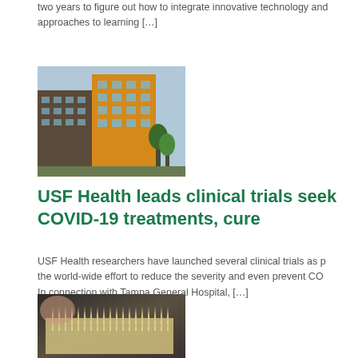two years to figure out how to integrate innovative technology and approaches to learning […]
[Figure (photo): USF Health building exterior — multi-story medical campus buildings in orange/yellow tones]
USF Health leads clinical trials seeking COVID-19 treatments, cure
USF Health researchers have launched several clinical trials as part of the world-wide effort to reduce the severity and even prevent COVID. In connection with Tampa General Hospital, […]
[Figure (photo): Close-up of a micro-needle array patch held between fingers — rows of tiny white spikes on a beige backing]